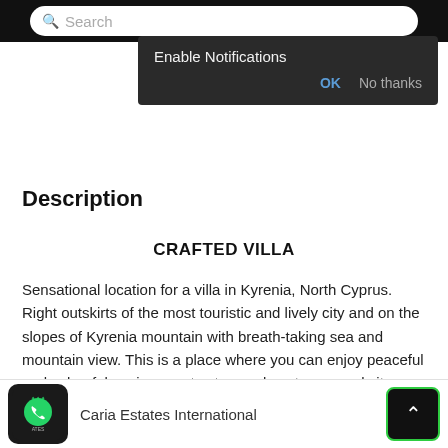[Figure (screenshot): Mobile app search bar on black top navigation bar]
[Figure (screenshot): Enable Notifications popup dialog with OK and No thanks buttons on dark background]
Description
CRAFTED VILLA
Sensational location for a villa in Kyrenia, North Cyprus. Right outskirts of the most touristic and lively city and on the slopes of Kyrenia mountain with breath-taking sea and mountain view. This is a place where you can enjoy peaceful and colourful environment yet very close to sea and city center.
Modern villa with contemporary design offers a perfect
Caria Estates International